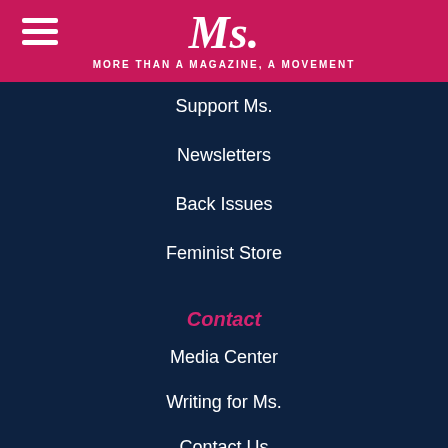Ms. — MORE THAN A MAGAZINE, A MOVEMENT
Support Ms.
Newsletters
Back Issues
Feminist Store
Contact
Media Center
Writing for Ms.
Contact Us
Advertise with Ms.